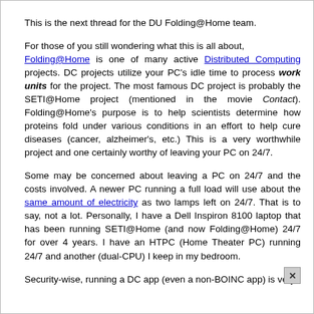This is the next thread for the DU Folding@Home team.
For those of you still wondering what this is all about, Folding@Home is one of many active Distributed Computing projects. DC projects utilize your PC's idle time to process work units for the project. The most famous DC project is probably the SETI@Home project (mentioned in the movie Contact). Folding@Home's purpose is to help scientists determine how proteins fold under various conditions in an effort to help cure diseases (cancer, alzheimer's, etc.) This is a very worthwhile project and one certainly worthy of leaving your PC on 24/7.
Some may be concerned about leaving a PC on 24/7 and the costs involved. A newer PC running a full load will use about the same amount of electricity as two lamps left on 24/7. That is to say, not a lot. Personally, I have a Dell Inspiron 8100 laptop that has been running SETI@Home (and now Folding@Home) 24/7 for over 4 years. I have an HTPC (Home Theater PC) running 24/7 and another (dual-CPU) I keep in my bedroom.
Security-wise, running a DC app (even a non-BOINC app) is very